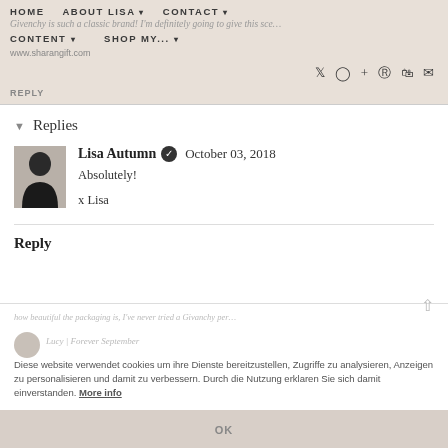HOME   ABOUT LISA ▾   CONTACT ▾   CONTENT ▾   SHOP MY... ▾
Givenchy is such a classic brand! I'm definitely going to give this sce…
www.sharangift.com
REPLY
▾  Replies
Lisa Autumn ✓  October 03, 2018
Absolutely!

x Lisa
Reply
Diese website verwendet cookies um ihre Dienste bereitzustellen, Zugriffe zu analysieren, Anzeigen zu personalisieren und damit zu verbessern. Durch die Nutzung erklaren Sie sich damit einverstanden. More info
Lucy | Forever September